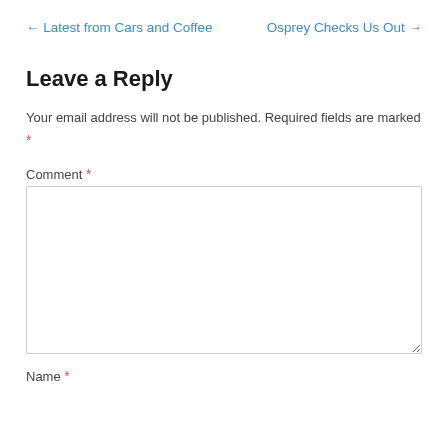← Latest from Cars and Coffee
Osprey Checks Us Out →
Leave a Reply
Your email address will not be published. Required fields are marked *
Comment *
Name *